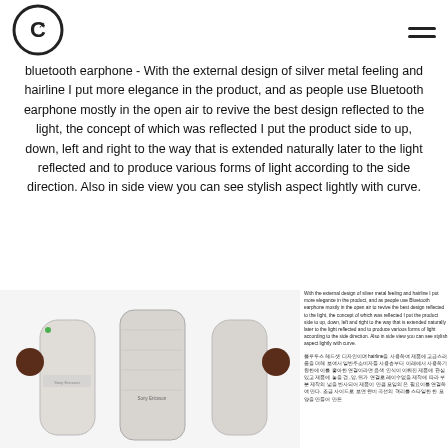CX logo and menu icon
bluetooth earphone - With the external design of silver metal feeling and hairline I put more elegance in the product, and as people use Bluetooth earphone mostly in the open air to revive the best design reflected to the light, the concept of which was reflected I put the product side to up, down, left and right to the way that is extended naturally later to the light reflected and to produce various forms of light according to the side direction. Also in side view you can see stylish aspect lightly with curve.
[Figure (photo): Three views of a Bluetooth earphone with silver metal body and dark ear pieces, shown from different angles]
With the external design of silver metal feeling and hairline I put more elegance in the product, and as people use Bluetooth earphone mostly in the open air to revive the best design reflected to the light, the concept of which was reflected I put the product side to up, down, left and right to the way that is extended naturally later to the light reflected and to produce various forms of light according to the side direction. Also in side view you can see stylish aspect lightly with curve.